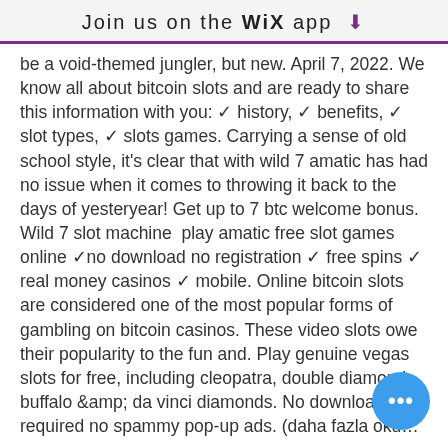Join us on the WiX app ↓
be a void-themed jungler, but new. April 7, 2022. We know all about bitcoin slots and are ready to share this information with you: ✓ history, ✓ benefits, ✓ slot types, ✓ slots games. Carrying a sense of old school style, it's clear that with wild 7 amatic has had no issue when it comes to throwing it back to the days of yesteryear! Get up to 7 btc welcome bonus. Wild 7 slot machine  play amatic free slot games online ✓no download no registration ✓ free spins ✓ real money casinos ✓ mobile. Online bitcoin slots are considered one of the most popular forms of gambling on bitcoin casinos. These video slots owe their popularity to the fun and. Play genuine vegas slots for free, including cleopatra, double diamond, buffalo &amp; da vinci diamonds. No download required no spammy pop-up ads. (daha fazla oku... saat önce — free bitcoin slot games 40 lines